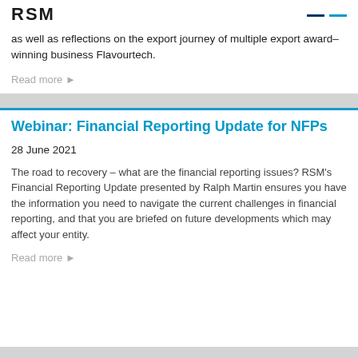RSM
as well as reflections on the export journey of multiple export award–winning business Flavourtech.
Read more ▶
Webinar: Financial Reporting Update for NFPs
28 June 2021
The road to recovery – what are the financial reporting issues? RSM's Financial Reporting Update presented by Ralph Martin ensures you have the information you need to navigate the current challenges in financial reporting, and that you are briefed on future developments which may affect your entity.
Read more ▶